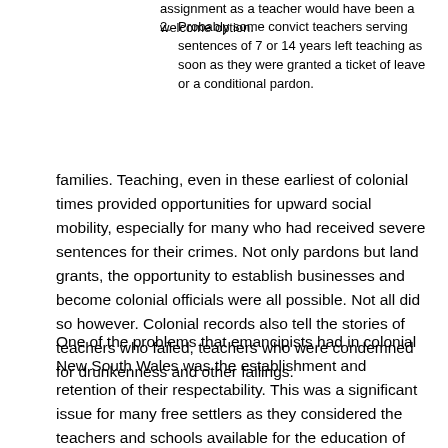assignment as a teacher would have been a welcome option.
2.    Probably some convict teachers serving sentences of 7 or 14 years left teaching as soon as they were granted a ticket of leave or a conditional pardon.
families. Teaching, even in these earliest of colonial times provided opportunities for upward social mobility, especially for many who had received severe sentences for their crimes. Not only pardons but land grants, the opportunity to establish businesses and become colonial officials were all possible. Not all did so however. Colonial records also tell the stories of teachers who failed, teachers who were condemned for drunkenness and other failings.
One of the problems that emancipists had in colonial New South Wales was the establishment and retention of their respectability. This was a significant issue for many free settlers as they considered the teachers and schools available for the education of their children. Exclusivist families were often profoundly disturbed by the possibility of too close a contact with the not-respectable. Sometimes they chose to send their children back to England for their education rather than have them influenced